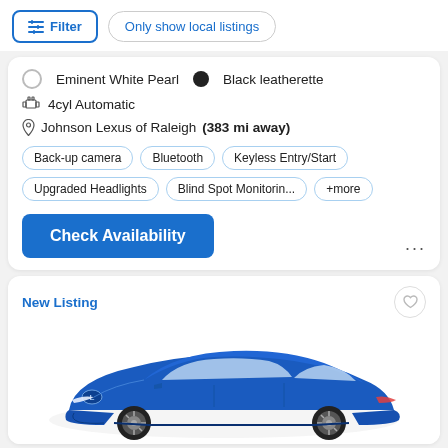Filter | Only show local listings
Eminent White Pearl  •  Black leatherette
4cyl Automatic
Johnson Lexus of Raleigh (383 mi away)
Back-up camera
Bluetooth
Keyless Entry/Start
Upgraded Headlights
Blind Spot Monitorin...
+more
Check Availability
New Listing
[Figure (photo): Blue Lexus UX compact SUV shown from front-left 3/4 angle on white background]